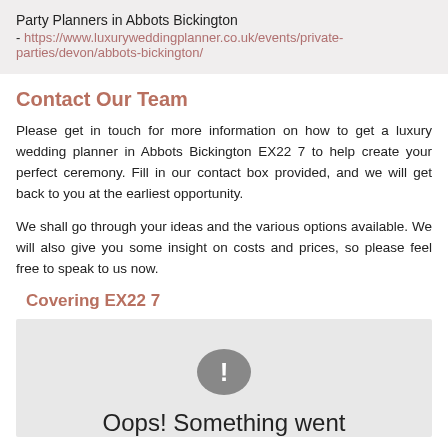Party Planners in Abbots Bickington - https://www.luxuryweddingplanner.co.uk/events/private-parties/devon/abbots-bickington/
Contact Our Team
Please get in touch for more information on how to get a luxury wedding planner in Abbots Bickington EX22 7 to help create your perfect ceremony. Fill in our contact box provided, and we will get back to you at the earliest opportunity.
We shall go through your ideas and the various options available. We will also give you some insight on costs and prices, so please feel free to speak to us now.
Covering EX22 7
[Figure (other): Map placeholder showing error state with exclamation icon and 'Oops! Something went' text]